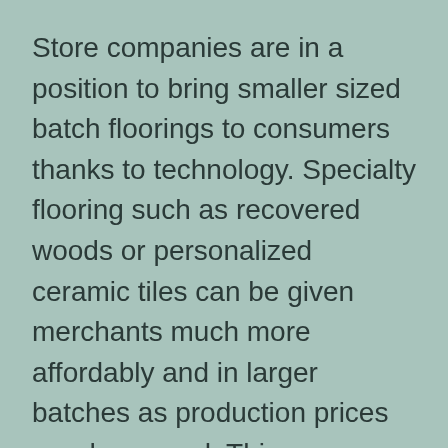Store companies are in a position to bring smaller sized batch floorings to consumers thanks to technology. Specialty flooring such as recovered woods or personalized ceramic tiles can be given merchants much more affordably and in larger batches as production prices are decreased. This can open brand-new lines to property owners that appeal to the desire to get in your area while also making their homes a lot more distinct.
New Products
Technology has likewise added to making difficult surface floorings more comfortable